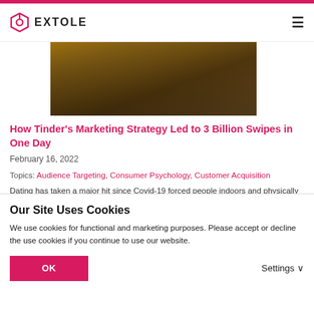[Figure (logo): Extole logo with hexagonal icon and EXTOLE wordmark in bold black]
[Figure (photo): Hero image showing an aerial/close-up view in warm brown and gold tones]
How Tinder's Marketing Strategy Led to 3 Billion Swipes in One Day
February 16, 2022
Topics: Audience Targeting, Consumer Psychology, Customer Acquisition
Dating has taken a major hit since Covid-19 forced people indoors and physically apart. Over
Our Site Uses Cookies
We use cookies for functional and marketing purposes. Please accept or decline the use cookies if you continue to use our website.
OK
Settings